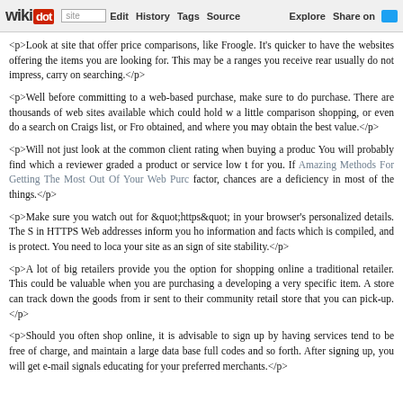wikidot | site Edit History Tags Source Explore Share on Twitter
<p>Look at site that offer price comparisons, like Froogle. It's quicker to have the websites offering the items you are looking for. This may be a ranges you receive rear usually do not impress, carry on searching.</p>
<p>Well before committing to a web-based purchase, make sure to do purchase. There are thousands of web sites available which could hold w a little comparison shopping, or even do a search on Craigs list, or Fro obtained, and where you may obtain the best value.</p>
<p>Will not just look at the common client rating when buying a produc You will probably find which a reviewer graded a product or service low t for you. If Amazing Methods For Getting The Most Out Of Your Web Purc factor, chances are a deficiency in most of the things.</p>
<p>Make sure you watch out for &quot;https&quot; in your browser's personalized details. The S in HTTPS Web addresses inform you ho information and facts which is compiled, and is protect. You need to loca your site as an sign of site stability.</p>
<p>A lot of big retailers provide you the option for shopping online a traditional retailer. This could be valuable when you are purchasing a developing a very specific item. A store can track down the goods from ir sent to their community retail store that you can pick-up.</p>
<p>Should you often shop online, it is advisable to sign up by having services tend to be free of charge, and maintain a large data base full codes and so forth. After signing up, you will get e-mail signals educating for your preferred merchants.</p>